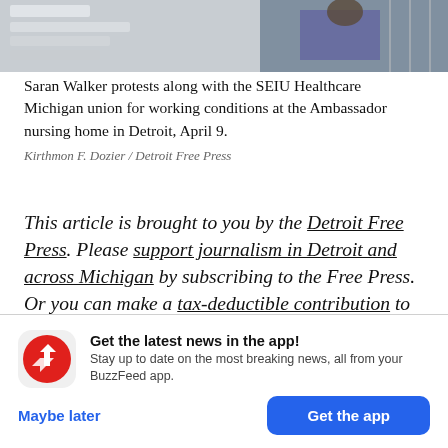[Figure (photo): Top portion of a photo showing a person protesting, partially visible at the top of the page]
Saran Walker protests along with the SEIU Healthcare Michigan union for working conditions at the Ambassador nursing home in Detroit, April 9.
Kirthmon F. Dozier / Detroit Free Press
This article is brought to you by the Detroit Free Press. Please support journalism in Detroit and across Michigan by subscribing to the Free Press. Or you can make a tax-deductible contribution to the nonprofit Report for America to help the Free Press
Get the latest news in the app! Stay up to date on the most breaking news, all from your BuzzFeed app.
Maybe later
Get the app